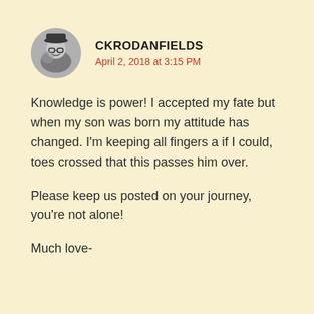[Figure (photo): Circular avatar photo of a person wearing a cap and glasses, black and white photo]
CKRODANFIELDS
April 2, 2018 at 3:15 PM
Knowledge is power! I accepted my fate but when my son was born my attitude has changed. I'm keeping all fingers a if I could, toes crossed that this passes him over.
Please keep us posted on your journey, you're not alone!
Much love-